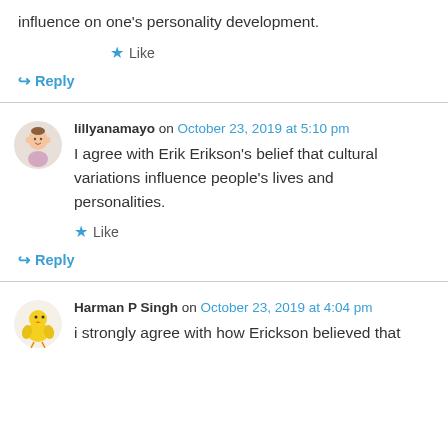influence on one's personality development.
★ Like
↳ Reply
lillyanamayo on October 23, 2019 at 5:10 pm
I agree with Erik Erikson's belief that cultural variations influence people's lives and personalities.
★ Like
↳ Reply
Harman P Singh on October 23, 2019 at 4:04 pm
i strongly agree with how Erickson believed that